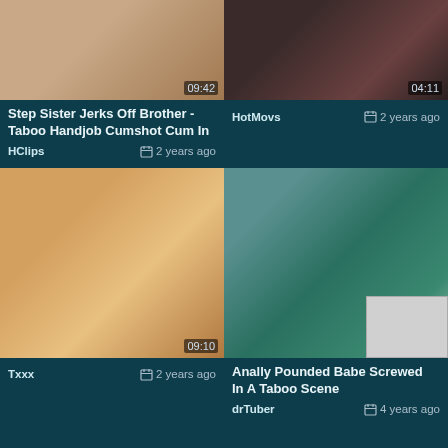[Figure (screenshot): Video thumbnail top-left, duration 09:42]
Step Sister Jerks Off Brother - Taboo Handjob Cumshot Cum In
HClips  2 years ago
[Figure (screenshot): Video thumbnail top-right, duration 04:11]
HotMovs  2 years ago
[Figure (screenshot): Video thumbnail bottom-left, duration 09:10]
Txxx  2 years ago
[Figure (screenshot): Video thumbnail bottom-right, duration 04:06]
Anally Pounded Babe Screwed In A Taboo Scene
drTuber  4 years ago